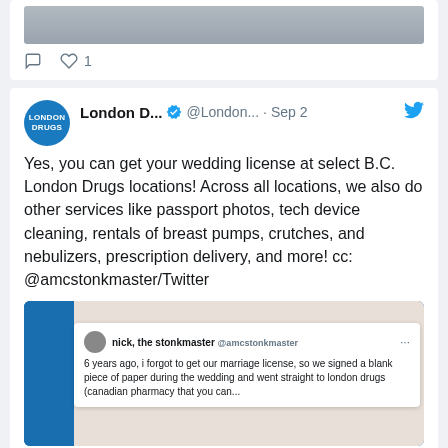[Figure (screenshot): Partial top of a tweet card showing a street photo and action bar with comment and heart icons (1 like)]
[Figure (screenshot): Tweet from London Drugs (@London...) on Sep 2 saying: Yes, you can get your wedding license at select B.C. London Drugs locations! Across all locations, we also do other services like passport photos, tech device cleaning, rentals of breast pumps, crutches, and nebulizers, prescription delivery, and more! cc: @amcstonkmaster/Twitter. Includes embedded tweet image from nick, the stonkmaster @amcstonkmaster about forgetting to get marriage license.]
Tags
back to school beauty beauty tutorial Book of the Month Books Cameras Charity christmas